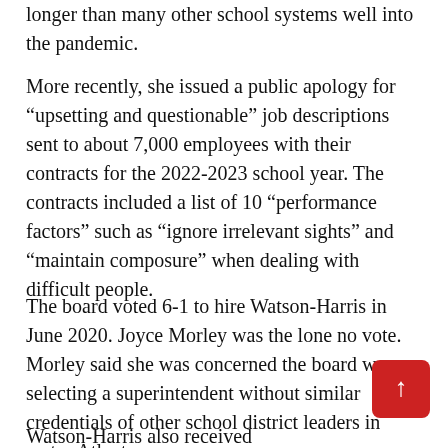longer than many other school systems well into the pandemic.
More recently, she issued a public apology for “upsetting and questionable” job descriptions sent to about 7,000 employees with their contracts for the 2022-2023 school year. The contracts included a list of 10 “performance factors” such as “ignore irrelevant sights” and “maintain composure” when dealing with difficult people.
The board voted 6-1 to hire Watson-Harris in June 2020. Joyce Morley was the lone no vote. Morley said she was concerned the board was selecting a superintendent without similar credentials of other school district leaders in metro Atlanta.
Watson-Harris also received...